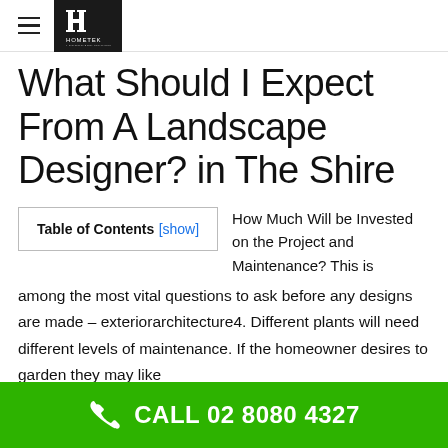HOMETEK (logo)
What Should I Expect From A Landscape Designer? in The Shire
| Table of Contents [show] |
| --- |
How Much Will be Invested on the Project and Maintenance? This is among the most vital questions to ask before any designs are made – exteriorarchitecture4. Different plants will need different levels of maintenance. If the homeowner desires to garden they may like
CALL 02 8080 4327